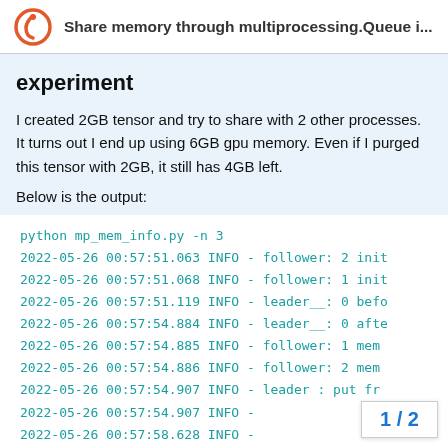Share memory through multiprocessing.Queue i...
experiment
I created 2GB tensor and try to share with 2 other processes. It turns out I end up using 6GB gpu memory. Even if I purged this tensor with 2GB, it still has 4GB left.
Below is the output:
python mp_mem_info.py -n 3
2022-05-26 00:57:51.063 INFO - follower: 2 init
2022-05-26 00:57:51.068 INFO - follower: 1 init
2022-05-26 00:57:51.119 INFO - leader__: 0 befo
2022-05-26 00:57:54.884 INFO - leader__: 0 afte
2022-05-26 00:57:54.885 INFO - follower: 1 mem
2022-05-26 00:57:54.886 INFO - follower: 2 mem
2022-05-26 00:57:54.907 INFO - leader  : put fr
2022-05-26 00:57:54.907 INFO -
2022-05-26 00:57:58.628 INFO -
1 / 2